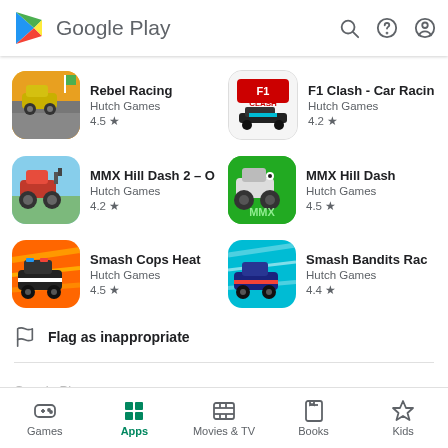Google Play
[Figure (screenshot): App listing: Rebel Racing, Hutch Games, 4.5 stars]
[Figure (screenshot): App listing: F1 Clash - Car Racing, Hutch Games, 4.2 stars]
[Figure (screenshot): App listing: MMX Hill Dash 2, Hutch Games, 4.2 stars]
[Figure (screenshot): App listing: MMX Hill Dash, Hutch Games, 4.5 stars]
[Figure (screenshot): App listing: Smash Cops Heat, Hutch Games, 4.5 stars]
[Figure (screenshot): App listing: Smash Bandits Racing, Hutch Games, 4.4 stars]
Flag as inappropriate
Games  Apps  Movies & TV  Books  Kids